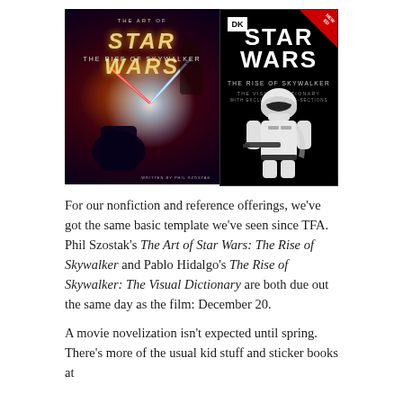[Figure (photo): Two book covers side by side: Left is 'The Art of Star Wars: The Rise of Skywalker' with dark cinematic cover art showing characters dueling with lightsabers. Right is 'Star Wars: The Rise of Skywalker – The Visual Dictionary with Exclusive Cross-Sections' published by DK, featuring a Stormtrooper in white armor on a black background with a red corner badge reading 'New Edition'.]
For our nonfiction and reference offerings, we've got the same basic template we've seen since TFA. Phil Szostak's The Art of Star Wars: The Rise of Skywalker and Pablo Hidalgo's The Rise of Skywalker: The Visual Dictionary are both due out the same day as the film: December 20.
A movie novelization isn't expected until spring. There's more of the usual kid stuff and sticker books at